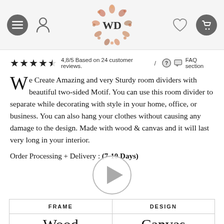WD logo with navigation icons (hamburger menu, user icon, heart, cart)
4,8/5 Based on 24 customer reviews. / FAQ section
We Create Amazing and very Sturdy room dividers with beautiful two-sided Motif. You can use this room divider to separate while decorating with style in your home, office, or business. You can also hang your clothes without causing any damage to the design. Made with wood & canvas and it will last very long in your interior.
Order Processing + Delivery : (7-10 Days)
[Figure (other): Video play button circle icon]
| FRAME | DESIGN |
| --- | --- |
| Wood | Canvas |